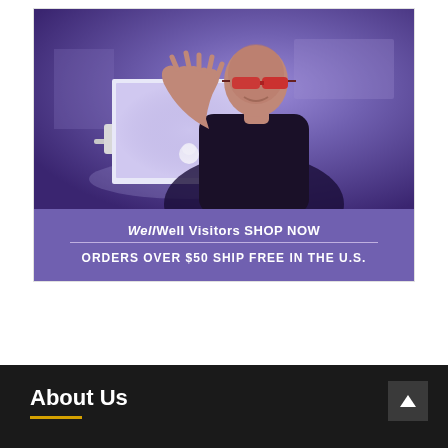[Figure (photo): A man wearing red-tinted sunglasses sitting in front of a glowing Apple MacBook laptop in a blue-purple lit room, waving at the camera with his right hand raised]
WellWell Visitors SHOP NOW
ORDERS OVER $50 SHIP FREE IN THE U.S.
About Us